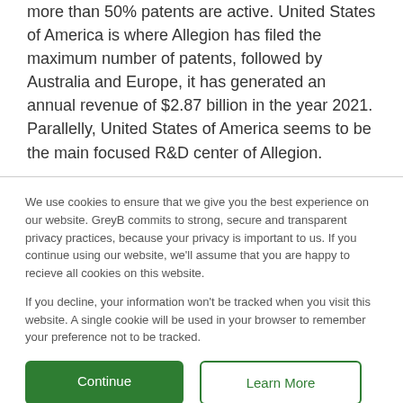more than 50% patents are active. United States of America is where Allegion has filed the maximum number of patents, followed by Australia and Europe, it has generated an annual revenue of $2.87 billion in the year 2021. Parallelly, United States of America seems to be the main focused R&D center of Allegion.
Allegion was founded in the year 1908. Company is
We use cookies to ensure that we give you the best experience on our website. GreyB commits to strong, secure and transparent privacy practices, because your privacy is important to us. If you continue using our website, we'll assume that you are happy to recieve all cookies on this website.

If you decline, your information won't be tracked when you visit this website. A single cookie will be used in your browser to remember your preference not to be tracked.